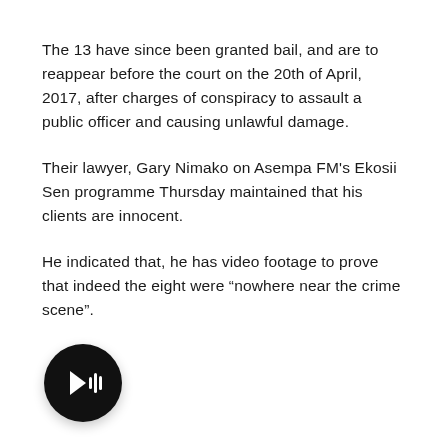The 13 have since been granted bail, and are to reappear before the court on the 20th of April, 2017, after charges of conspiracy to assault a public officer and causing unlawful damage.
Their lawyer, Gary Nimako on Asempa FM’s Ekosii Sen programme Thursday maintained that his clients are innocent.
He indicated that, he has video footage to prove that indeed the eight were “nowhere near the crime scene”.
[Figure (other): Audio play button — black circular button with a white play/audio waveform icon in the center]